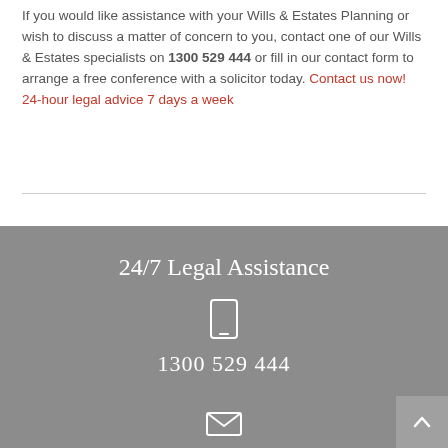If you would like assistance with your Wills & Estates Planning or wish to discuss a matter of concern to you, contact one of our Wills & Estates specialists on 1300 529 444 or fill in our contact form to arrange a free conference with a solicitor today. Contact us now! 24-hour legal advice 7 days a week
[Figure (infographic): Gray banner section with '24/7 Legal Assistance' heading, phone icon, phone number 1300 529 444, and email icon at the bottom]